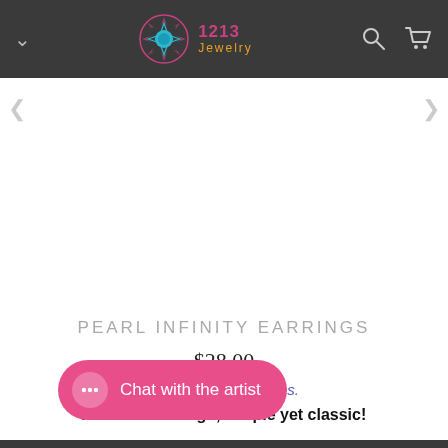1213 Jewelry
PEARL INFINITY EARRINGS
$28.00
Also sold in museums.
An eternal design, simple yet classic!
Chat with the artist